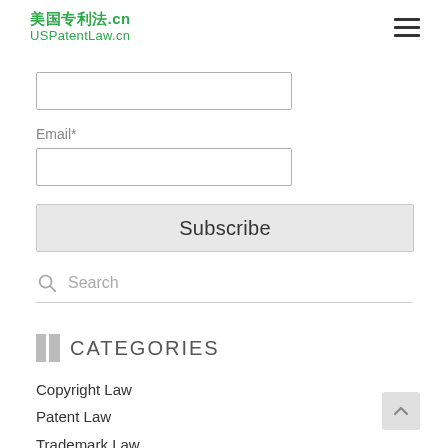美国专利法.cn USPatentLaw.cn
[Figure (screenshot): Empty text input field]
Email*
[Figure (screenshot): Email input field]
[Figure (screenshot): Subscribe button]
[Figure (screenshot): Search bar with magnifying glass icon]
CATEGORIES
Copyright Law
Patent Law
Trademark Law